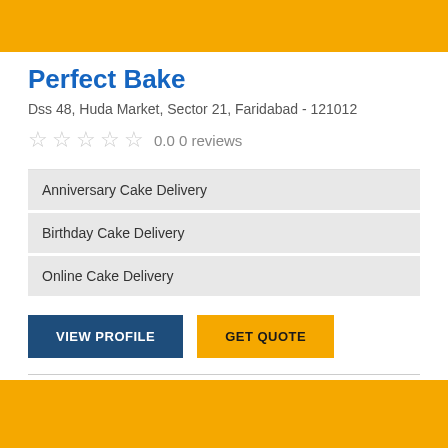[Figure (illustration): Yellow/gold banner at the top of the page with a faint decorative element]
Perfect Bake
Dss 48, Huda Market, Sector 21, Faridabad - 121012
☆ ☆ ☆ ☆ ☆  0.0 0 reviews
Anniversary Cake Delivery
Birthday Cake Delivery
Online Cake Delivery
VIEW PROFILE
GET QUOTE
[Figure (illustration): Yellow/gold banner at the bottom of the page]